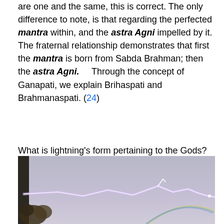are one and the same, this is correct. The only difference to note, is that regarding the perfected mantra within, and the astra Agni impelled by it. The fraternal relationship demonstrates that first the mantra is born from Sabda Brahman; then the astra Agni.      Through the concept of Ganapati, we explain Brihaspati and Brahmanaspati. (24)
What is lightning's form pertaining to the Gods?   It is Indra only.   Here he has a unique quality. Indra is named as the deity of Lightning.
[Figure (photo): Photograph of a lightning bolt striking horizontally across a grey-purple cloudy sky, with tree branches visible in the lower left corner and a faint rainbow arc in the lower right area.]